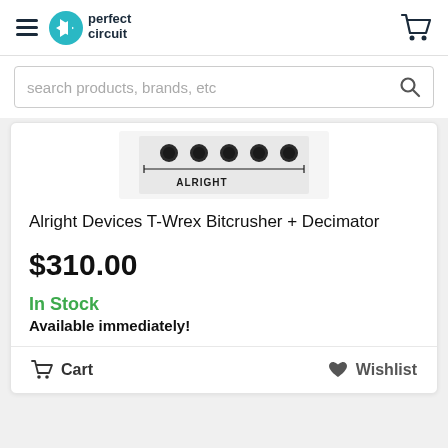perfect circuit
search products, brands, etc
[Figure (photo): Product image of Alright Devices T-Wrex Bitcrusher + Decimator module showing top panel with knobs]
Alright Devices T-Wrex Bitcrusher + Decimator
$310.00
In Stock
Available immediately!
Cart   Wishlist